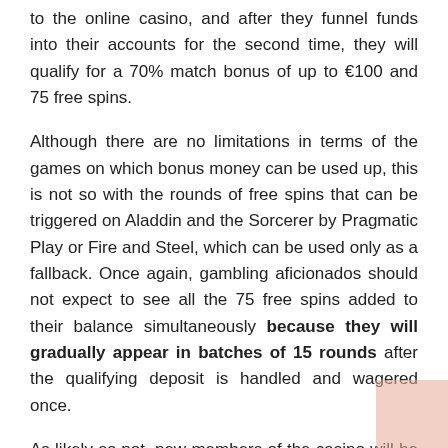to the online casino, and after they funnel funds into their accounts for the second time, they will qualify for a 70% match bonus of up to €100 and 75 free spins.
Although there are no limitations in terms of the games on which bonus money can be used up, this is not so with the rounds of free spins that can be triggered on Aladdin and the Sorcerer by Pragmatic Play or Fire and Steel, which can be used only as a fallback. Once again, gambling aficionados should not expect to see all the 75 free spins added to their balance simultaneously because they will gradually appear in batches of 15 rounds after the qualifying deposit is handled and wagered once.
As likely as not, new members of the casino will be happy with the welcome package because they will be entitled to a 100% match bonus of €100 as soon as they add funds to their accounts for the third time.